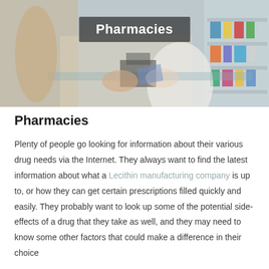[Figure (photo): Pharmacy scene showing a pharmacist in white coat handing something to a customer across a counter, with shelves of medication in the background. A title overlay reads 'Pharmacies' on a semi-transparent dark bar.]
Pharmacies
Plenty of people go looking for information about their various drug needs via the Internet. They always want to find the latest information about what a Lecithin manufacturing company is up to, or how they can get certain prescriptions filled quickly and easily. They probably want to look up some of the potential side-effects of a drug that they take as well, and they may need to know some other factors that could make a difference in their choice